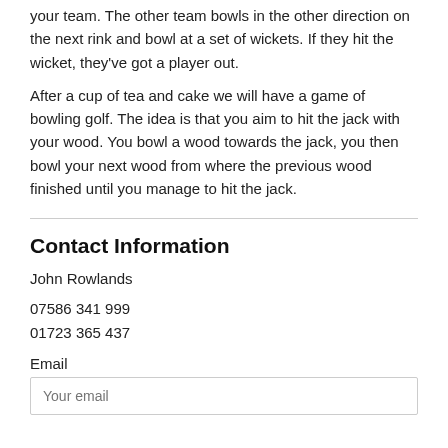your team. The other team bowls in the other direction on the next rink and bowl at a set of wickets. If they hit the wicket, they've got a player out.
After a cup of tea and cake we will have a game of bowling golf. The idea is that you aim to hit the jack with your wood. You bowl a wood towards the jack, you then bowl your next wood from where the previous wood finished until you manage to hit the jack.
Contact Information
John Rowlands
07586 341 999
01723 365 437
Email
Your email